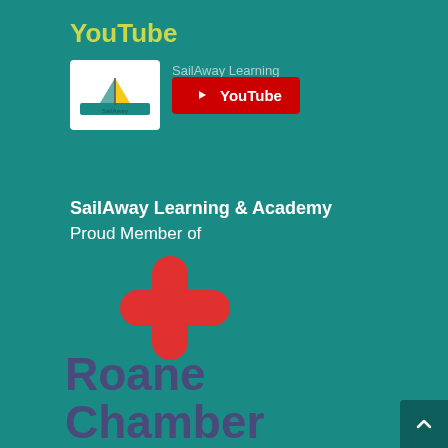YouTube
[Figure (logo): SailAway Learning logo (white box with sailboat graphic) next to a red YouTube button]
SailAway Learning
SailAway Learning & Academy
Proud Member of
[Figure (logo): Red cross/plus symbol (Roane Chamber membership logo)]
Roane
Chamber
Roane Alliance